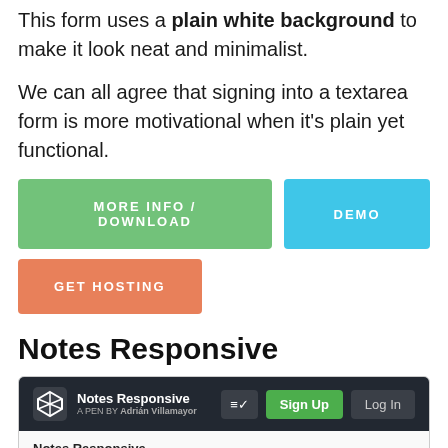This form uses a plain white background to make it look neat and minimalist.
We can all agree that signing into a textarea form is more motivational when it's plain yet functional.
[Figure (screenshot): Three buttons: green 'MORE INFO / DOWNLOAD', blue 'DEMO', and orange 'GET HOSTING']
Notes Responsive
[Figure (screenshot): Screenshot of Notes Responsive app by Adrián Villamayor showing dark navbar with Sign Up and Log In buttons, and a white content area with Notes Responsive title and input box]